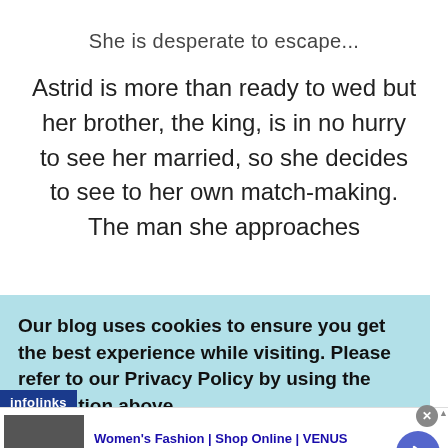She is desperate to escape...
Astrid is more than ready to wed but her brother, the king, is in no hurry to see her married, so she decides to see to her own match-making. The man she approaches
Our blog uses cookies to ensure you get the best experience while visiting. Please refer to our Privacy Policy by using the navigation above
[Figure (screenshot): An advertisement banner for Women's Fashion at VENUS (venus.com) with thumbnail image, title, description, and navigation arrow button.]